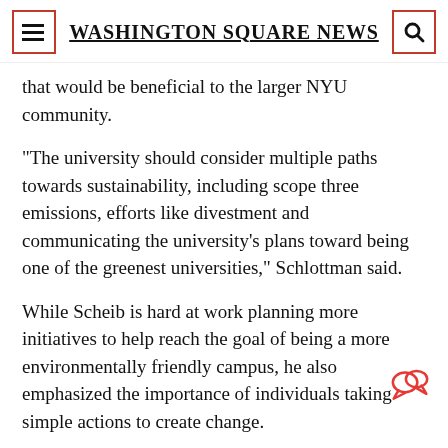Washington Square News
that would be beneficial to the larger NYU community.
“The university should consider multiple paths towards sustainability, including scope three emissions, efforts like divestment and communicating the university’s plans toward being one of the greenest universities,” Schlottman said.
While Scheib is hard at work planning more initiatives to help reach the goal of being a more environmentally friendly campus, he also emphasized the importance of individuals taking simple actions to create change.
“There are so many things we all can do — from ou…